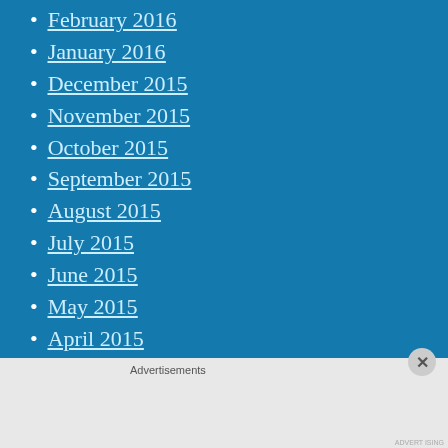February 2016
January 2016
December 2015
November 2015
October 2015
September 2015
August 2015
July 2015
June 2015
May 2015
April 2015
March 2015
February 2015
Advertisements
[Figure (screenshot): Jetpack advertisement banner with 'Secure Your Site' button on green background]